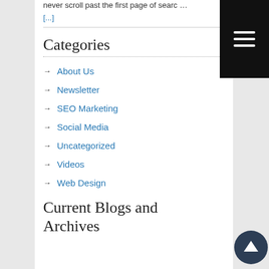never scroll past the first page of searc …
[...]
Categories
About Us
Newsletter
SEO Marketing
Social Media
Uncategorized
Videos
Web Design
Current Blogs and Archives